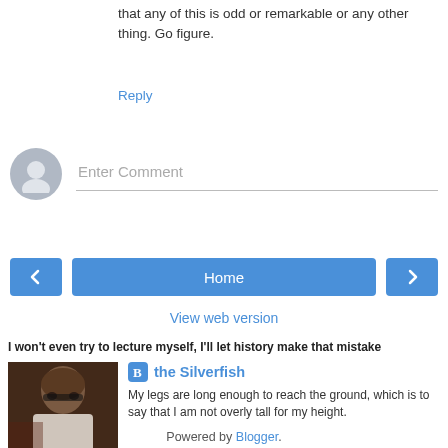that any of this is odd or remarkable or any other thing. Go figure.
Reply
[Figure (other): Comment input area with avatar placeholder and Enter Comment text field]
[Figure (infographic): Navigation buttons: left arrow, Home, right arrow]
View web version
I won't even try to lecture myself, I'll let history make that mistake
[Figure (photo): Profile photo of a bald man wearing sunglasses and a white shirt]
the Silverfish
My legs are long enough to reach the ground, which is to say that I am not overly tall for my height.
View my complete profile
Powered by Blogger.